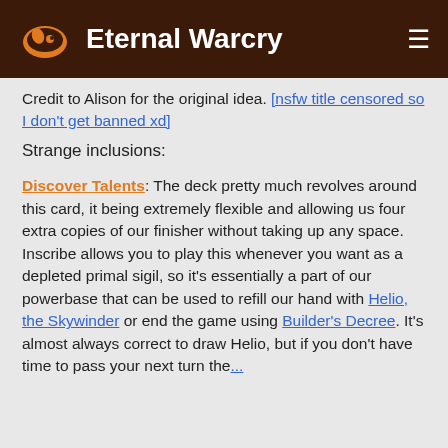Eternal Warcry
Credit to Alison for the original idea. [nsfw title censored so I don't get banned xd]
Strange inclusions:
Discover Talents: The deck pretty much revolves around this card, it being extremely flexible and allowing us four extra copies of our finisher without taking up any space. Inscribe allows you to play this whenever you want as a depleted primal sigil, so it's essentially a part of our powerbase that can be used to refill our hand with Helio, the Skywinder or end the game using Builder's Decree. It's almost always correct to draw Helio, but if you don't have time to pass your next turn the...